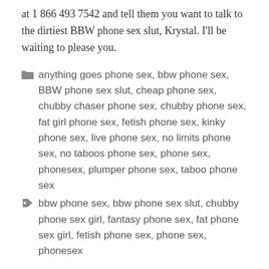at 1 866 493 7542 and tell them you want to talk to the dirtiest BBW phone sex slut, Krystal. I'll be waiting to please you.
anything goes phone sex, bbw phone sex, BBW phone sex slut, cheap phone sex, chubby chaser phone sex, chubby phone sex, fat girl phone sex, fetish phone sex, kinky phone sex, live phone sex, no limits phone sex, no taboos phone sex, phone sex, phonesex, plumper phone sex, taboo phone sex
bbw phone sex, bbw phone sex slut, chubby phone sex girl, fantasy phone sex, fat phone sex girl, fetish phone sex, phone sex, phonesex